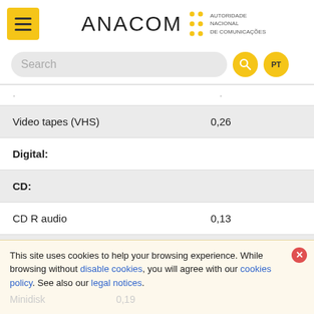[Figure (logo): ANACOM logo with menu button and subtitle Autoridade Nacional de Comunicações]
[Figure (screenshot): Search bar with search button and PT language toggle]
|  |  |
| --- | --- |
| Video tapes (VHS) | 0,26 |
| Digital: |  |
| CD: |  |
| CD R audio | 0,13 |
| CD R data | 0,05 |
| Minidisk | 0,19 |
This site uses cookies to help your browsing experience. While browsing without disable cookies, you will agree with our cookies policy. See also our legal notices.